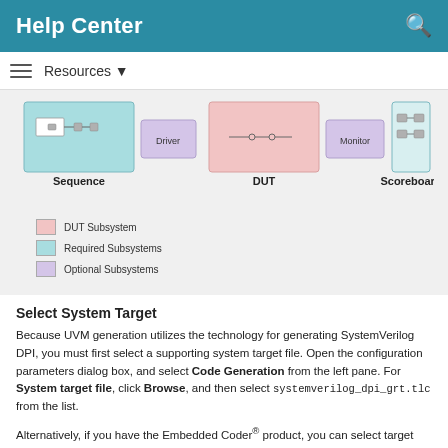Help Center
Resources ▼
[Figure (schematic): UVM testbench block diagram showing Sequence, Driver, DUT, Monitor, and Scoreboard subsystems with a legend indicating DUT Subsystem (pink), Required Subsystems (cyan), and Optional Subsystems (purple).]
Select System Target
Because UVM generation utilizes the technology for generating SystemVerilog DPI, you must first select a supporting system target file. Open the configuration parameters dialog box, and select Code Generation from the left pane. For System target file, click Browse, and then select systemverilog_dpi_grt.tlc from the list.
Alternatively, if you have the Embedded Coder® product, you can select target systemverilog_dpi_ert.tlc. This target enables you to access additional code generation options when